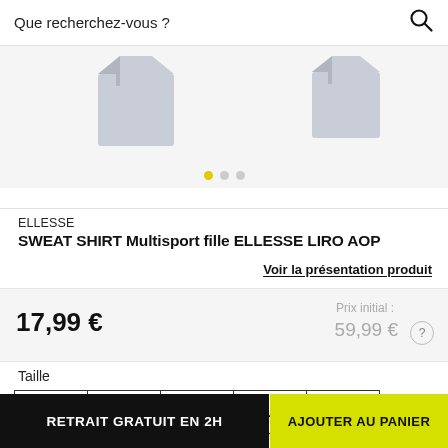Que recherchez-vous ?
[Figure (photo): Two product images of a sweatshirt (light blue/gray), shown side by side on a light gray background with carousel dots below.]
ELLESSE
SWEAT SHIRT Multisport fille ELLESSE LIRO AOP
Voir la présentation produit
17,99 €
Prix initial : 59,99 €
Taille
XS
S
M
L
XL
RETRAIT GRATUIT EN 2H
AJOUTER AU PANIER